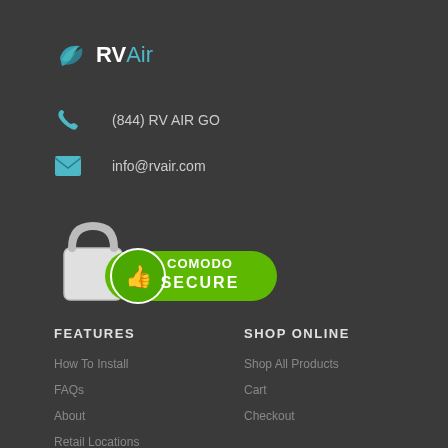[Figure (logo): RVAir logo with teal swoosh icon and RVAir text in white and teal]
(844) RV AIR GO
info@rvair.com
[Figure (illustration): Comodo Secure badge with padlock, thumbs up icon, and green COMODO SECURE label]
FEATURES
SHOP ONLINE
How To Install
Shop All Products
FAQs
Cart
About
Checkout
Retail Locations